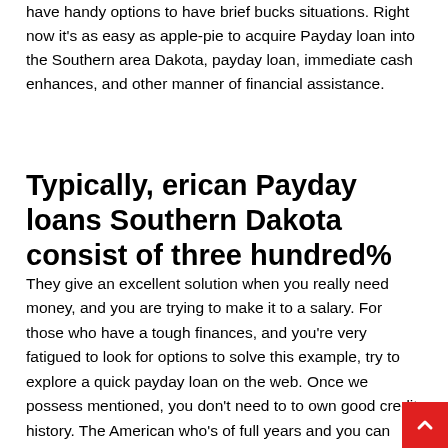have handy options to have brief bucks situations. Right now it's as easy as apple-pie to acquire Payday loan into the Southern area Dakota, payday loan, immediate cash enhances, and other manner of financial assistance.
Typically, erican Payday loans Southern Dakota consist of three hundred%
They give an excellent solution when you really need money, and you are trying to make it to a salary. For those who have a tough finances, and you're very fatigued to look for options to solve this example, try to explore a quick payday loan on the web. Once we possess mentioned, you don't need to to own good credit history. The American who's of full years and you can match the lending company standards, was competent to get a simple loan. Certain lenders take time to formally expose a cash advance, there is affairs whenever waiting is not the